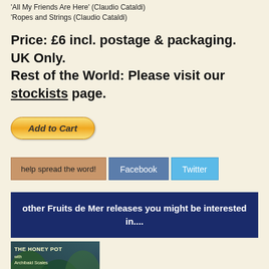'All My Friends Are Here' (Claudio Cataldi)
'Ropes and Strings (Claudio Cataldi)
Price: £6 incl. postage & packaging. UK Only.
Rest of the World: Please visit our stockists page.
[Figure (other): Add to Cart button with golden gradient styling]
[Figure (other): Social sharing bar with 'help spread the word!', Facebook, and Twitter buttons]
other Fruits de Mer releases you might be interested in....
[Figure (photo): Album cover for The Honey Pot featuring fantasy nature illustration with green and blue tones]